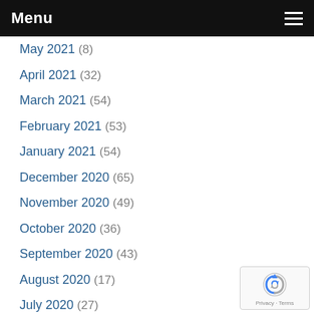Menu
May 2021 (8)
April 2021 (32)
March 2021 (54)
February 2021 (53)
January 2021 (54)
December 2020 (65)
November 2020 (49)
October 2020 (36)
September 2020 (43)
August 2020 (17)
July 2020 (27)
June 2020 (18)
May 2020 (51)
April 2020 (52)